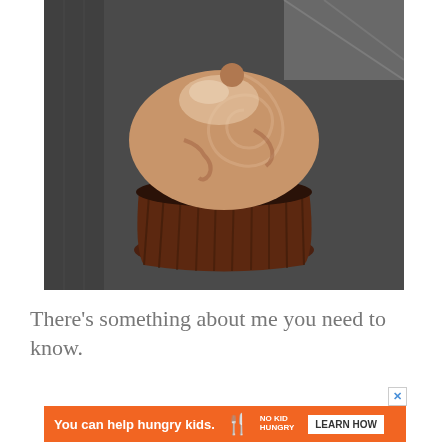[Figure (photo): Close-up photograph of a chocolate cupcake with swirled chocolate frosting in a brown paper cupcake liner, placed on a dark grey/slate surface with a light cloth visible in the background]
There's something about me you need to know.
[Figure (other): Orange advertisement banner reading 'You can help hungry kids.' with No Kid Hungry logo and 'LEARN HOW' button, with a close X button in the top right corner]